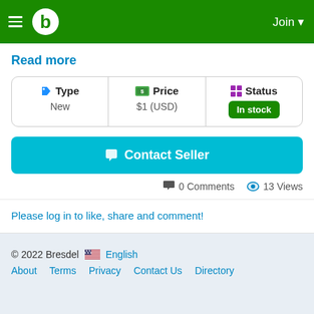b  Join
Read more
| Type | Price | Status |
| --- | --- | --- |
| New | $1 (USD) | In stock |
Contact Seller
0 Comments  13 Views
Please log in to like, share and comment!
© 2022 Bresdel  English  About  Terms  Privacy  Contact Us  Directory